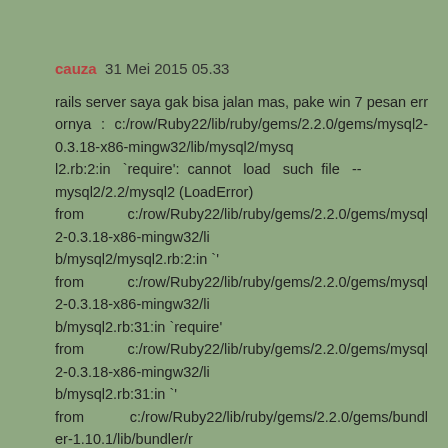cauza  31 Mei 2015 05.33
rails server saya gak bisa jalan mas, pake win 7 pesan errornya : c:/row/Ruby22/lib/ruby/gems/2.2.0/gems/mysql2-0.3.18-x86-mingw32/lib/mysql2/mysql2.rb:2:in `require': cannot load such file -- mysql2/2.2/mysql2 (LoadError)
from         c:/row/Ruby22/lib/ruby/gems/2.2.0/gems/mysql2-0.3.18-x86-mingw32/lib/mysql2/mysql2.rb:2:in `'
from         c:/row/Ruby22/lib/ruby/gems/2.2.0/gems/mysql2-0.3.18-x86-mingw32/lib/mysql2.rb:31:in `require'
from         c:/row/Ruby22/lib/ruby/gems/2.2.0/gems/mysql2-0.3.18-x86-mingw32/lib/mysql2.rb:31:in `'
from         c:/row/Ruby22/lib/ruby/gems/2.2.0/gems/bundler-1.10.1/lib/bundler/runtime.rb:76:in `require'
from         c:/row/Ruby22/lib/ruby/gems/2.2.0/gems/bundler-1.10.1/lib/bundler/r